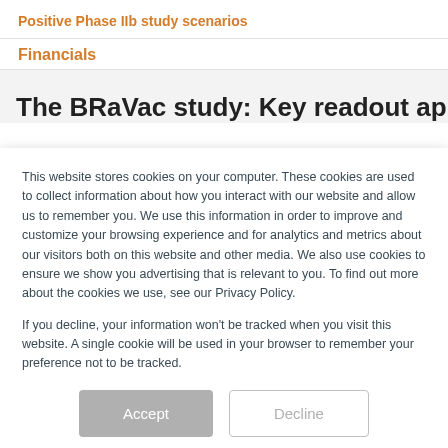Positive Phase IIb study scenarios
Financials
The BRaVac study: Key readout approaching
This website stores cookies on your computer. These cookies are used to collect information about how you interact with our website and allow us to remember you. We use this information in order to improve and customize your browsing experience and for analytics and metrics about our visitors both on this website and other media. We also use cookies to ensure we show you advertising that is relevant to you. To find out more about the cookies we use, see our Privacy Policy.

If you decline, your information won't be tracked when you visit this website. A single cookie will be used in your browser to remember your preference not to be tracked.
Accept
Decline